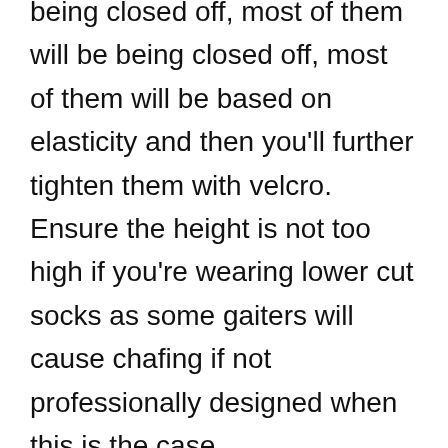being closed off, most of them will be based on elasticity and then you'll further tighten them with velcro. Ensure the height is not too high if you're wearing lower cut socks as some gaiters will cause chafing if not professionally designed when this is the case.
Instep Straps: These secure the lower end of your gaiters with the bottom of your shoe using a belt. The material used here is important, if there is something like cotton there then it won't last one trail run however if the material is